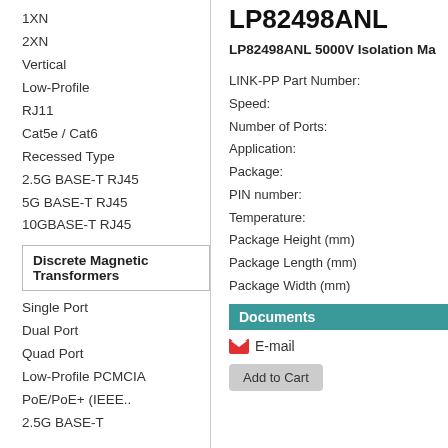1XN
2XN
Vertical
Low-Profile
RJ11
Cat5e / Cat6
Recessed Type
2.5G BASE-T RJ45
5G BASE-T RJ45
10GBASE-T RJ45
Discrete Magnetic Transformers
Single Port
Dual Port
Quad Port
Low-Profile PCMCIA
PoE/PoE+ (IEEE..
2.5G BASE-T
LP82498ANL
LP82498ANL 5000V Isolation Ma
LINK-PP Part Number:
Speed:
Number of Ports:
Application:
Package:
PIN number:
Temperature:
Package Height (mm)
Package Length (mm)
Package Width (mm)
Documents
E-mail